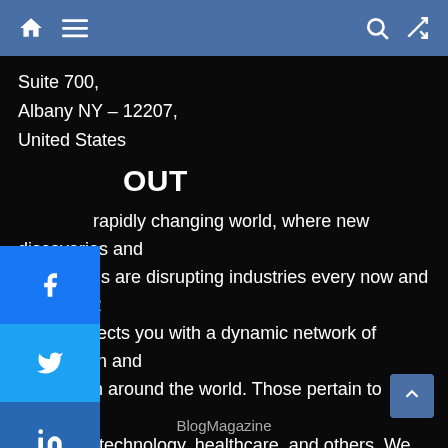Navigation bar with home, menu, search, and shuffle icons
Suite 700,
Albany NY – 12207,
United States
OUT
[Figure (other): Social media sharing sidebar with Facebook, Twitter, LinkedIn, and more (+) buttons]
rapidly changing world, where new discoveries and vations are disrupting industries every now and then, TMR connects you with a dynamic network of information and hts from around the world. Those pertain to finance, business, technology, healthcare, and others. We intend to help you with such latest game-changing information to take better decisions in your respective endeavors.
BlogMagazine